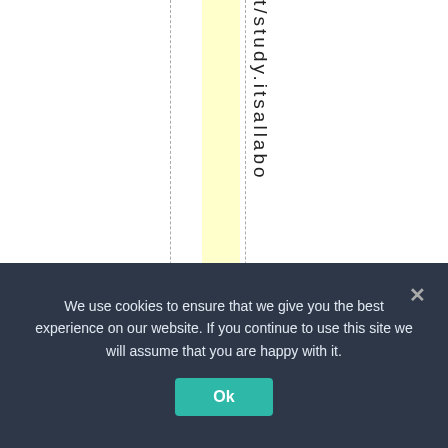[Figure (screenshot): Partial webpage view showing a yellow highlighted column, dashed vertical grid lines, and vertically rendered text reading 't/study.itsallab o' rotated 90 degrees.]
We use cookies to ensure that we give you the best experience on our website. If you continue to use this site we will assume that you are happy with it.